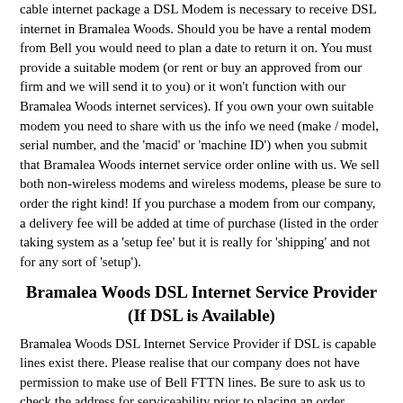cable internet package a DSL Modem is necessary to receive DSL internet in Bramalea Woods. Should you be have a rental modem from Bell you would need to plan a date to return it on. You must provide a suitable modem (or rent or buy an approved from our firm and we will send it to you) or it won't function with our Bramalea Woods internet services). If you own your own suitable modem you need to share with us the info we need (make / model, serial number, and the 'macid' or 'machine ID') when you submit that Bramalea Woods internet service order online with us. We sell both non-wireless modems and wireless modems, please be sure to order the right kind! If you purchase a modem from our company, a delivery fee will be added at time of purchase (listed in the order taking system as a 'setup fee' but it is really for 'shipping' and not for any sort of 'setup').
Bramalea Woods DSL Internet Service Provider (If DSL is Available)
Bramalea Woods DSL Internet Service Provider if DSL is capable lines exist there. Please realise that our company does not have permission to make use of Bell FTTN lines. Be sure to ask us to check the address for serviceability prior to placing an order. Payment due at the time order placed. Billing begins from day order placed. In the event that you do not have an active Bell